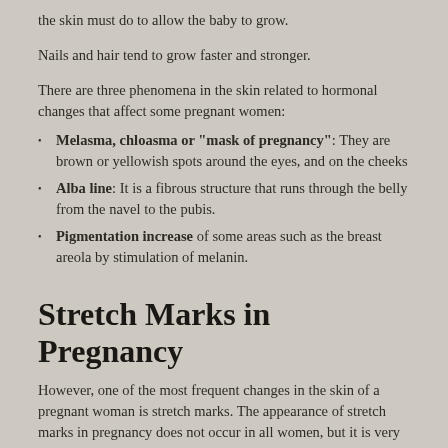the skin must do to allow the baby to grow.
Nails and hair tend to grow faster and stronger.
There are three phenomena in the skin related to hormonal changes that affect some pregnant women:
Melasma, chloasma or "mask of pregnancy": They are brown or yellowish spots around the eyes, and on the cheeks
Alba line: It is a fibrous structure that runs through the belly from the navel to the pubis.
Pigmentation increase of some areas such as the breast areola by stimulation of melanin.
Stretch Marks in Pregnancy
However, one of the most frequent changes in the skin of a pregnant woman is stretch marks. The appearance of stretch marks in pregnancy does not occur in all women, but it is very